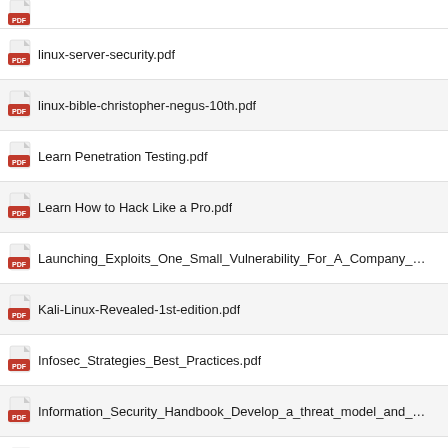linux-server-security.pdf
linux-bible-christopher-negus-10th.pdf
Learn Penetration Testing.pdf
Learn How to Hack Like a Pro.pdf
Launching_Exploits_One_Small_Vulnerability_For_A_Company_…
Kali-Linux-Revealed-1st-edition.pdf
Infosec_Strategies_Best_Practices.pdf
Information_Security_Handbook_Develop_a_threat_model_and_…
Infinity Ethical Hacking_ Learn basic to advance hacks.epub
Improving_your_Penetration_Testing_Skills.pdf